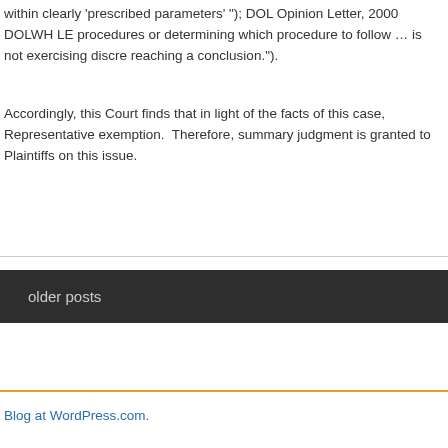within clearly 'prescribed parameters' "); DOL Opinion Letter, 2000 DOLWH LE procedures or determining which procedure to follow … is not exercising discre reaching a conclusion.").
Accordingly, this Court finds that in light of the facts of this case, Representative exemption.  Therefore, summary judgment is granted to Plaintiffs on this issue.
older posts
Blog at WordPress.com.